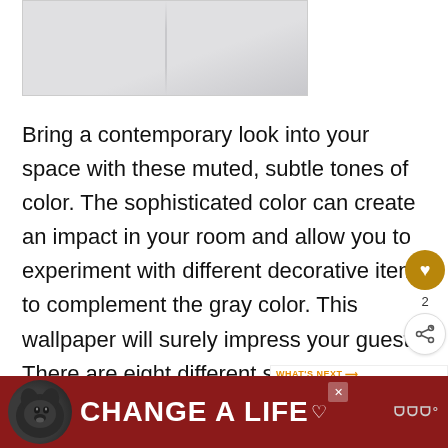[Figure (photo): Close-up photo of light gray/white wallpaper showing a vertical seam between two panels]
Bring a contemporary look into your space with these muted, subtle tones of color. The sophisticated color can create an impact in your room and allow you to experiment with different decorative items to complement the gray color. This wallpaper will surely impress your guests. There are eight different solid colors to from, including pink, purple, gray, and blue.
[Figure (infographic): Social sidebar with heart/like button showing count of 2, and a share button]
[Figure (infographic): What's Next widget with thumbnail and text 'Does Wallpaper...']
[Figure (photo): Bottom advertisement banner: black dog image with 'CHANGE A LIFE' text on dark red background with close button and logo]